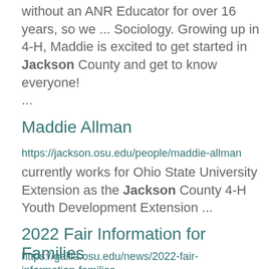without an ANR Educator for over 16 years, so we ... Sociology. Growing up in 4-H, Maddie is excited to get started in Jackson County and get to know everyone! ...
Maddie Allman
https://jackson.osu.edu/people/maddie-allman
currently works for Ohio State University Extension as the Jackson County 4-H Youth Development Extension ...
2022 Fair Information for Families
https://gallia.osu.edu/news/2022-fair-information-families